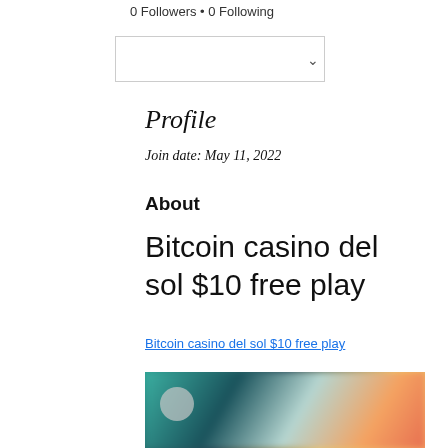0 Followers • 0 Following
[Figure (screenshot): Dropdown UI element with chevron]
Profile
Join date: May 11, 2022
About
Bitcoin casino del sol $10 free play
Bitcoin casino del sol $10 free play
[Figure (photo): Blurred casino-themed image with people and colorful background]